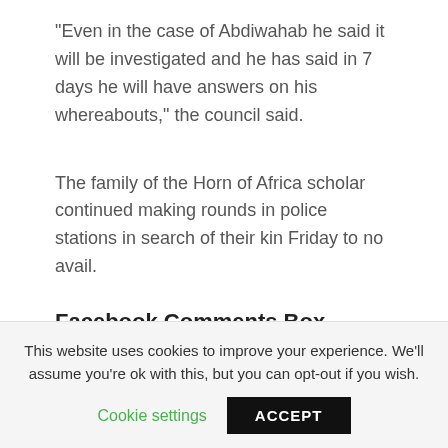“Even in the case of Abdiwahab he said it will be investigated and he has said in 7 days he will have answers on his whereabouts,” the council said.
The family of the Horn of Africa scholar continued making rounds in police stations in search of their kin Friday to no avail.
Facebook Comments Box
[Figure (other): Social media sharing icons: Facebook, Twitter, Pinterest, WhatsApp, Email, and a Facebook Like button]
This website uses cookies to improve your experience. We’ll assume you’re ok with this, but you can opt-out if you wish.
Cookie settings   ACCEPT